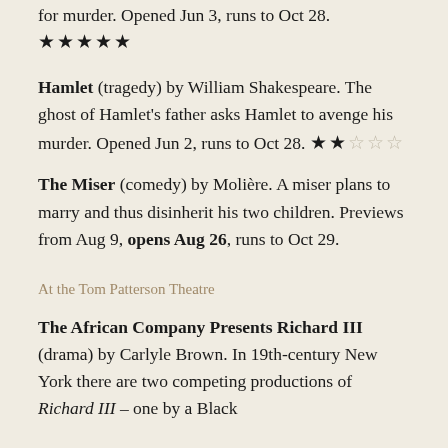for murder. Opened Jun 3, runs to Oct 28. ★★★★★
Hamlet (tragedy) by William Shakespeare. The ghost of Hamlet's father asks Hamlet to avenge his murder. Opened Jun 2, runs to Oct 28. ★★☆☆☆
The Miser (comedy) by Molière. A miser plans to marry and thus disinherit his two children. Previews from Aug 9, opens Aug 26, runs to Oct 29.
At the Tom Patterson Theatre
The African Company Presents Richard III (drama) by Carlyle Brown. In 19th-century New York there are two competing productions of Richard III – one by a Black